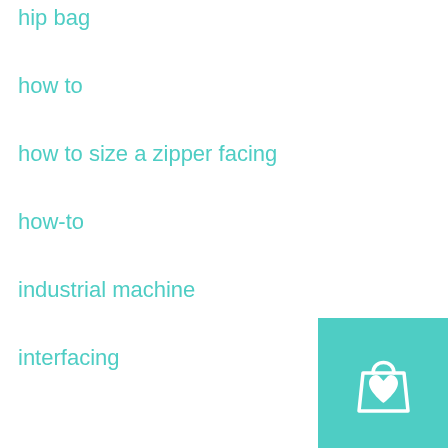hip bag
how to
how to size a zipper facing
how-to
industrial machine
interfacing
interfacing chart
intermediate
intermediate sewists
Juki TL2000QI
Kaya Papaya Design
KPD
Laila Weekender
laptop bag
large
[Figure (other): Shopping bag with heart icon button in teal/turquoise color]